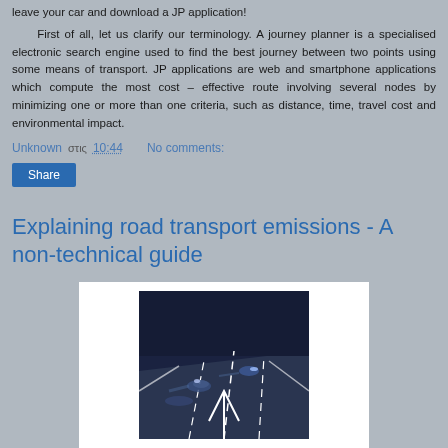leave your car and download a JP application!
First of all, let us clarify our terminology. A journey planner is a specialised electronic search engine used to find the best journey between two points using some means of transport. JP applications are web and smartphone applications which compute the most cost – effective route involving several nodes by minimizing one or more than one criteria, such as distance, time, travel cost and environmental impact.
Unknown στις 10:44    No comments:
Share
Explaining road transport emissions - A non-technical guide
[Figure (photo): Aerial or overhead view of a multi-lane road/highway at night with cars and dashed white lane markings, showing motion blur of vehicles on a dark road surface.]